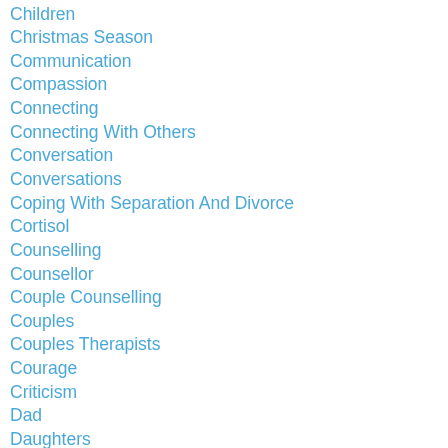Children
Christmas Season
Communication
Compassion
Connecting
Connecting With Others
Conversation
Conversations
Coping With Separation And Divorce
Cortisol
Counselling
Counsellor
Couple Counselling
Couples
Couples Therapists
Courage
Criticism
Dad
Daughters
Death
Deep Breathing